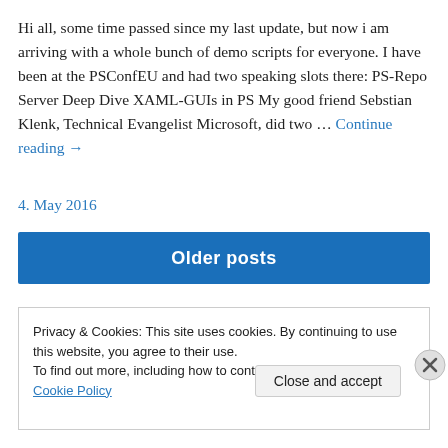Hi all, some time passed since my last update, but now i am arriving with a whole bunch of demo scripts for everyone. I have been at the PSConfEU and had two speaking slots there: PS-Repo Server Deep Dive XAML-GUIs in PS My good friend Sebstian Klenk, Technical Evangelist Microsoft, did two … Continue reading →
4. May 2016
Older posts
Privacy & Cookies: This site uses cookies. By continuing to use this website, you agree to their use.
To find out more, including how to control cookies, see here: Cookie Policy
Close and accept